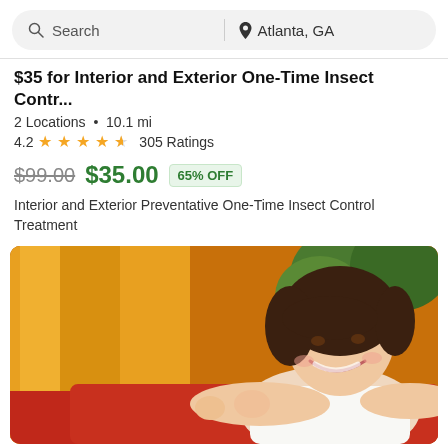Search | Atlanta, GA
$35 for Interior and Exterior One-Time Insect Contr...
2 Locations • 10.1 mi
4.2 ★★★★½ 305 Ratings
$99.00  $35.00  65% OFF
Interior and Exterior Preventative One-Time Insect Control Treatment
[Figure (photo): A smiling young girl with dark hair leaning on a red surface, with an orange/yellow background]